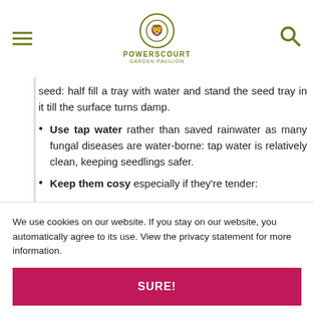POWERSCOURT GARDEN PAVILION
seed: half fill a tray with water and stand the seed tray in it till the surface turns damp.
Use tap water rather than saved rainwater as many fungal diseases are water-borne: tap water is relatively clean, keeping seedlings safer.
Keep them cosy especially if they're tender:
We use cookies on our website. If you stay on our website, you automatically agree to its use. View the privacy statement for more information.
SURE!